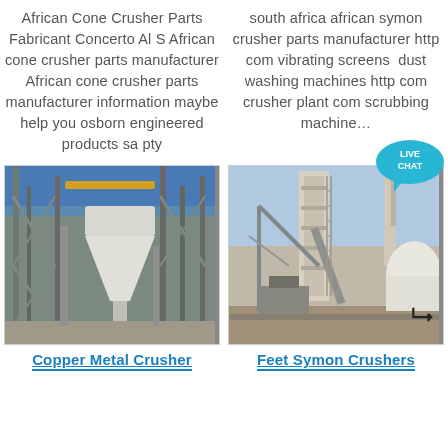African Cone Crusher Parts Fabricant Concerto Al S African cone crusher parts manufacturer African cone crusher parts manufacturer information maybe help you osborn engineered products sa pty
south africa african symon crusher parts manufacturer http com vibrating screens dust washing machines http com crusher plant com scrubbing machine…
[Figure (photo): Industrial cone crusher facility with metal framework, silos, and structural steel supports indoors]
[Figure (photo): Outdoor industrial plant facility with tall tower structures, cranes, and large white storage tanks]
Copper Metal Crusher
Feet Symon Crushers